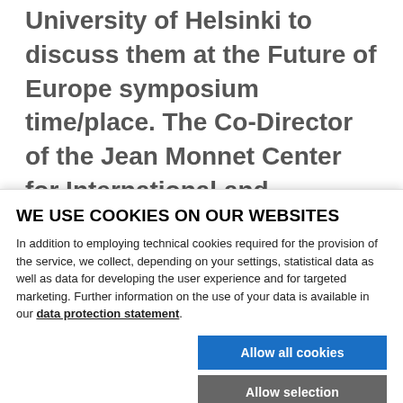University of Helsinki to discuss them at the Future of Europe symposium time/place. The Co-Director of the Jean Monnet Center for International and Regional Economic Law & Justice Professor Joseph Weiler will deliver the keynote speech.
On 9 May 1950 Robert Schuman proposed to set up a
WE USE COOKIES ON OUR WEBSITES
In addition to employing technical cookies required for the provision of the service, we collect, depending on your settings, statistical data as well as data for developing the user experience and for targeted marketing. Further information on the use of your data is available in our data protection statement.
Allow all cookies
Allow selection
Use necessary cookies only
Necessary technical cookies | Functional cookies | Show details
Statistics cookies | Marketing cookies